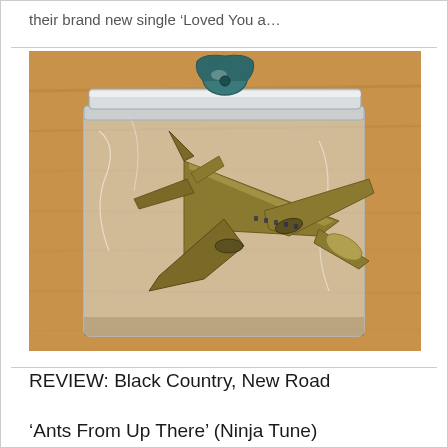their brand new single ‘Loved You a…
[Figure (photo): A gold/metallic toy airplane model inside a clear plastic zip-lock bag, sealed with a metal binder clip and a teal/blue decorative clip at the top, placed on a wooden surface.]
REVIEW: Black Country, New Road
‘Ants From Up There’ (Ninja Tune)